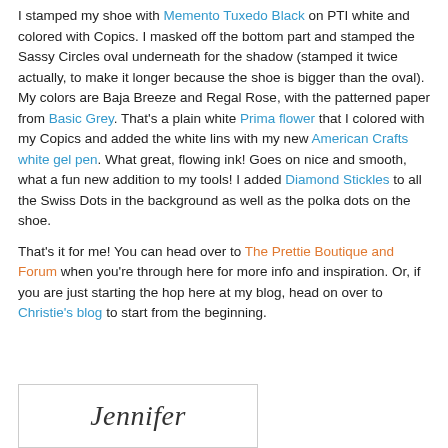I stamped my shoe with Memento Tuxedo Black on PTI white and colored with Copics. I masked off the bottom part and stamped the Sassy Circles oval underneath for the shadow (stamped it twice actually, to make it longer because the shoe is bigger than the oval). My colors are Baja Breeze and Regal Rose, with the patterned paper from Basic Grey. That's a plain white Prima flower that I colored with my Copics and added the white lins with my new American Crafts white gel pen. What great, flowing ink! Goes on nice and smooth, what a fun new addition to my tools! I added Diamond Stickles to all the Swiss Dots in the background as well as the polka dots on the shoe.
That's it for me! You can head over to The Prettie Boutique and Forum when you're through here for more info and inspiration. Or, if you are just starting the hop here at my blog, head on over to Christie's blog to start from the beginning.
[Figure (illustration): Handwritten signature reading 'Jennifer' in cursive script on white background with a light decorative border]